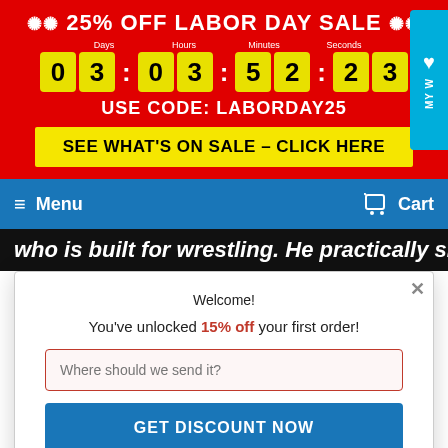✺✺ 25% OFF LABOR DAY SALE ✺✺
Days 03  Hours 03  Minutes 52  Seconds 23
USE CODE: LABORDAY25
SEE WHAT'S ON SALE – CLICK HERE
Menu   Cart
who is built for wrestling. He practically sizzles as
Welcome!
You've unlocked 15% off your first order!
Where should we send it?
GET DISCOUNT NOW